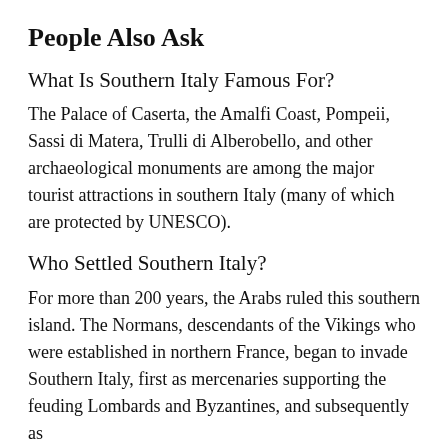People Also Ask
What Is Southern Italy Famous For?
The Palace of Caserta, the Amalfi Coast, Pompeii, Sassi di Matera, Trulli di Alberobello, and other archaeological monuments are among the major tourist attractions in southern Italy (many of which are protected by UNESCO).
Who Settled Southern Italy?
For more than 200 years, the Arabs ruled this southern island. The Normans, descendants of the Vikings who were established in northern France, began to invade Southern Italy, first as mercenaries supporting the feuding Lombards and Byzantines, and subsequently as